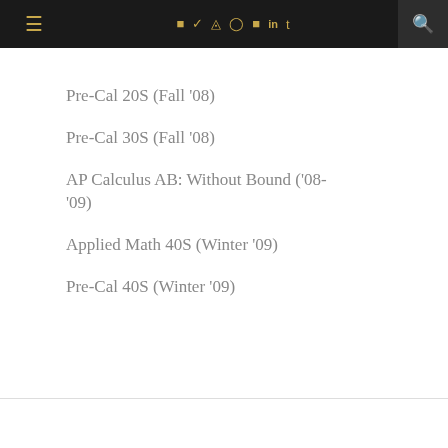Navigation bar with menu and social icons
Pre-Cal 20S (Fall '08)
Pre-Cal 30S (Fall '08)
AP Calculus AB: Without Bound ('08-'09)
Applied Math 40S (Winter '09)
Pre-Cal 40S (Winter '09)